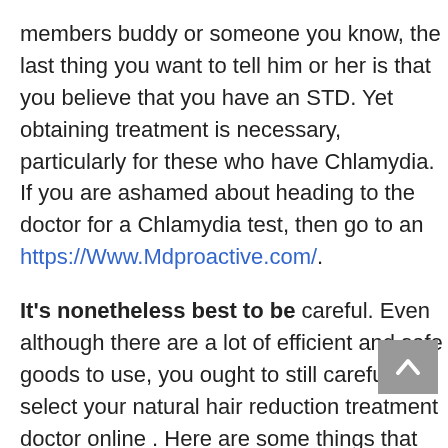members buddy or someone you know, the last thing you want to tell him or her is that you believe that you have an STD. Yet obtaining treatment is necessary, particularly for these who have Chlamydia. If you are ashamed about heading to the doctor for a Chlamydia test, then go to an https://Www.Mdproactive.com/.
It's nonetheless best to be careful. Even although there are a lot of efficient and safe goods to use, you ought to still carefully select your natural hair reduction treatment doctor online . Here are some things that you would have to keep in mind before purchasing a product.
But the Web has altered all that. Your network of support can now include hundreds of individuals who have an viewpoint on a doctor and they are willing to